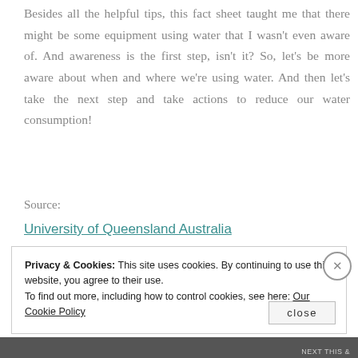Besides all the helpful tips, this fact sheet taught me that there might be some equipment using water that I wasn't even aware of. And awareness is the first step, isn't it? So, let's be more aware about when and where we're using water. And then let's take the next step and take actions to reduce our water consumption!
Source:
University of Queensland Australia
Privacy & Cookies: This site uses cookies. By continuing to use this website, you agree to their use.
To find out more, including how to control cookies, see here: Our Cookie Policy
close